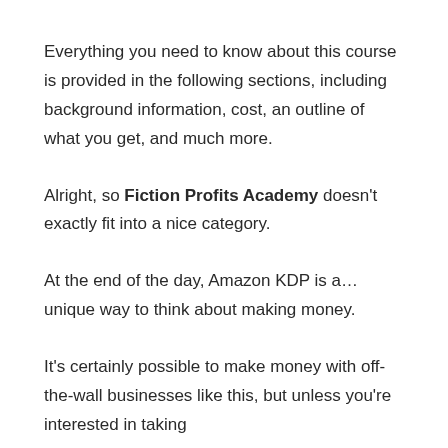Everything you need to know about this course is provided in the following sections, including background information, cost, an outline of what you get, and much more.
Alright, so Fiction Profits Academy doesn't exactly fit into a nice category.
At the end of the day, Amazon KDP is a… unique way to think about making money.
It's certainly possible to make money with off-the-wall businesses like this, but unless you're interested in taking